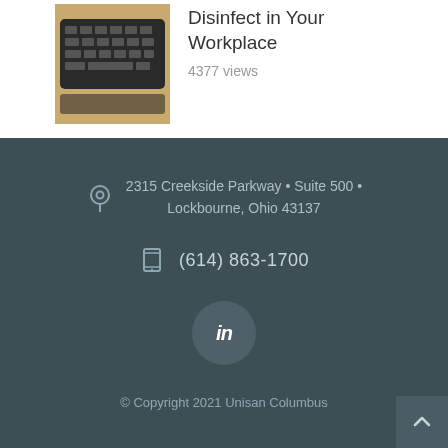[Figure (photo): Photo of a computer keyboard on a desk]
Disinfect in Your Workplace
4377 views
2315 Creekside Parkway • Suite 500 • Lockbourne, Ohio 43137
(614) 863-1700
[Figure (logo): LinkedIn icon in a circle]
© Copyright 2021 Unisan Columbus